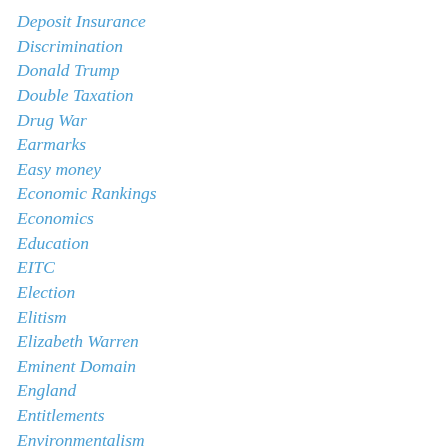Deposit Insurance
Discrimination
Donald Trump
Double Taxation
Drug War
Earmarks
Easy money
Economic Rankings
Economics
Education
EITC
Election
Elitism
Elizabeth Warren
Eminent Domain
England
Entitlements
Environmentalism
Equality
Estonia